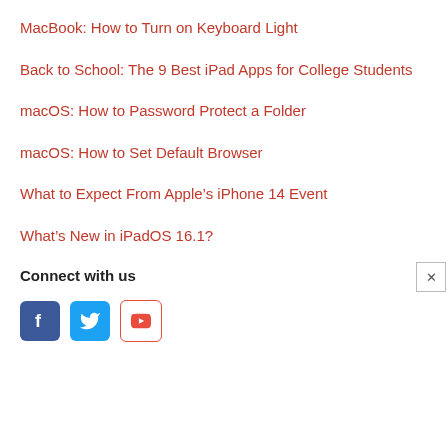MacBook: How to Turn on Keyboard Light
Back to School: The 9 Best iPad Apps for College Students
macOS: How to Password Protect a Folder
macOS: How to Set Default Browser
What to Expect From Apple's iPhone 14 Event
What's New in iPadOS 16.1?
Connect with us
[Figure (logo): Social media icons: Facebook (blue), Twitter (light blue), YouTube (red outline with play button)]